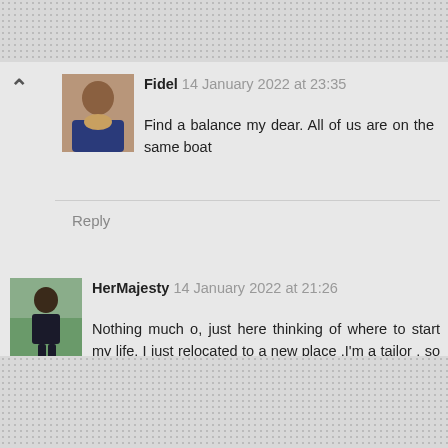Fidel 14 January 2022 at 23:35
Find a balance my dear. All of us are on the same boat
Reply
HerMajesty 14 January 2022 at 21:26
Nothing much o, just here thinking of where to start my life, I just relocated to a new place .I'm a tailor , so confused on how to start, may be to look for a place to attach my self